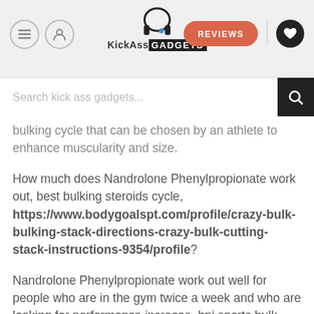KickAss GADGETS — navigation header with logo, REVIEWS button, and heart icon
Search kick ass gadgets...
bulking cycle that can be chosen by an athlete to enhance muscularity and size.
How much does Nandrolone Phenylpropionate work out, best bulking steroids cycle, https://www.bodygoalspt.com/profile/crazy-bulk-bulking-stack-directions-crazy-bulk-cutting-stack-instructions-9354/profile?
Nandrolone Phenylpropionate work out well for people who are in the gym twice a week and who are looking for performance increase, bpi sports bulk muscle anabolic mass gainer price. Although nandrolone phenylpropionate can work out for